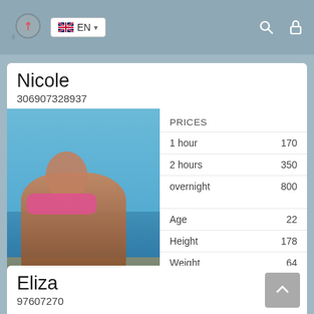EN (language selector with flag, search icon, lock icon)
Nicole
306907328937
[Figure (photo): Woman in pink bikini sitting near water with blue sky and coastline in background. Caption: 1st limassol industrial zone]
| PRICES |  |
| --- | --- |
| 1 hour | 170 |
| 2 hours | 350 |
| overnight | 800 |
| Age | 22 |
| Height | 178 |
| Weight | 64 |
| Breast | 4 |
Eliza
97607270